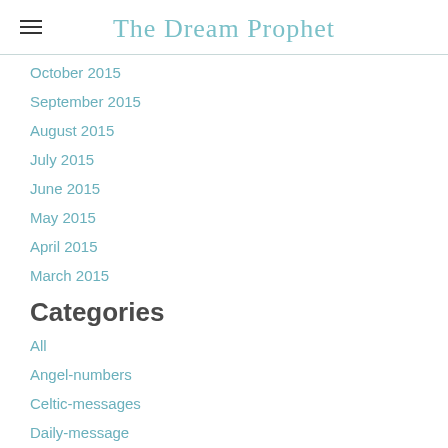The Dream Prophet
October 2015
September 2015
August 2015
July 2015
June 2015
May 2015
April 2015
March 2015
Categories
All
Angel-numbers
Celtic-messages
Daily-message
Daily-message-super-blue-blood-moon-lunar-eclipse
Dream-prophet
Forest-folklore-tarot